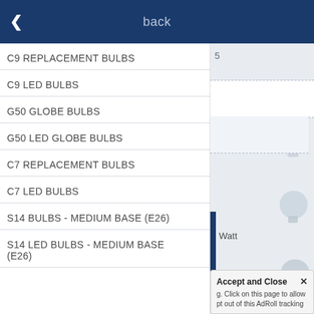back
C9 REPLACEMENT BULBS
C9 LED BULBS
G50 GLOBE BULBS
G50 LED GLOBE BULBS
C7 REPLACEMENT BULBS
C7 LED BULBS
S14 BULBS - MEDIUM BASE (E26)
S14 LED BULBS - MEDIUM BASE (E26)
Accept and Close ✕
g. Click on this page to allow
pt out of this AdRoll tracking